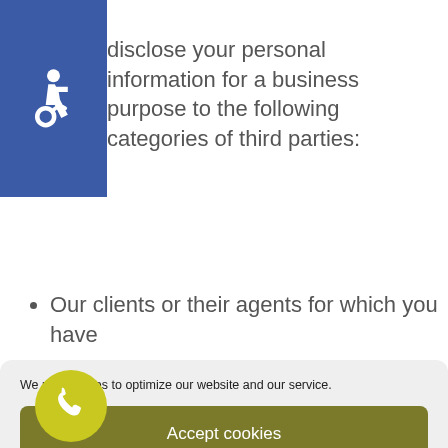[Figure (illustration): Blue square accessibility icon with white wheelchair symbol in top-left corner]
disclose your personal information for a business purpose to the following categories of third parties:
Our clients or their agents for which you have
We use cookies to optimize our website and our service.
Accept cookies
Deny
View preferences
Cookie Policy   Privacy Policy
[Figure (illustration): Yellow circle phone icon in bottom-left area]